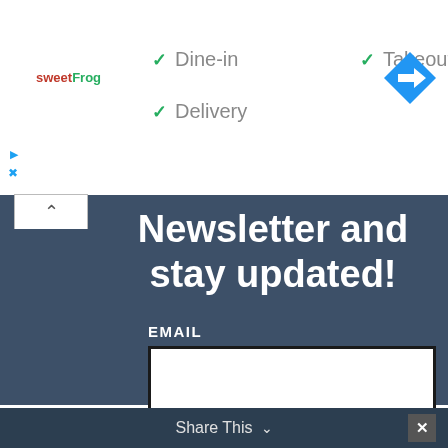[Figure (logo): sweetFrog frozen yogurt brand logo in red and green text]
✓ Dine-in
✓ Takeout
✓ Delivery
[Figure (other): Blue diamond-shaped navigation/directions icon with white arrow]
Newsletter and stay updated!
EMAIL
By continuing, you accept the privacy policy
SUBSCRIBE
Share This ∨